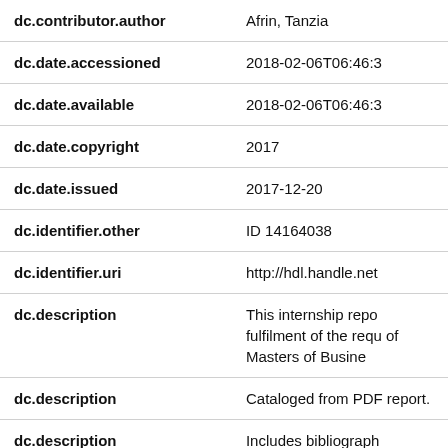| Field | Value |
| --- | --- |
| dc.contributor.author | Afrin, Tanzia |
| dc.date.accessioned | 2018-02-06T06:46:3 |
| dc.date.available | 2018-02-06T06:46:3 |
| dc.date.copyright | 2017 |
| dc.date.issued | 2017-12-20 |
| dc.identifier.other | ID 14164038 |
| dc.identifier.uri | http://hdl.handle.net |
| dc.description | This internship repo fulfilment of the requ of Masters of Busine |
| dc.description | Cataloged from PDF report. |
| dc.description | Includes bibliograph |
| dc.description.abstract | For millions of poor |